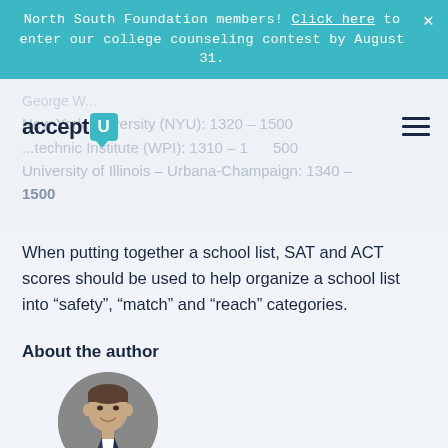North South Foundation members! Click here to enter our college counseling contest by August 31.
New York University (NYU): 1320 – 1500
...technic Institute (WPI): 1310 – 1500
University of Illinois – Urbana-Champaign: 1340 – 1500
When putting together a school list, SAT and ACT scores should be used to help organize a school list into “safety”, “match” and “reach” categories.
About the author
[Figure (photo): Circular headshot of a smiling man in a suit, author photo]